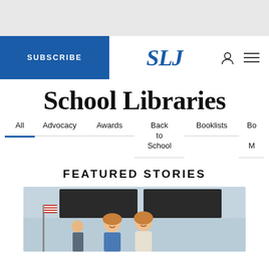School Libraries
All
Advocacy
Awards
Back to School
Booklists
Bo... M...
FEATURED STORIES
[Figure (photo): Photo of people smiling in a room with an American flag and a dark screen/board in the background.]